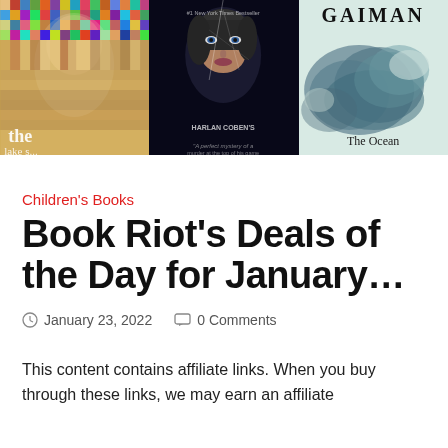[Figure (photo): Three book covers side by side: 'the [fake] claws' mosaic portrait cover, Harlan Coben's book with woman's face, and Neil Gaiman's 'The Ocean' with teal watercolor cover]
Children's Books
Book Riot's Deals of the Day for January…
January 23, 2022   0 Comments
This content contains affiliate links. When you buy through these links, we may earn an affiliate